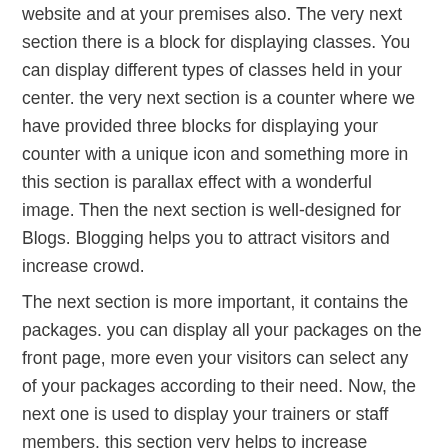website and at your premises also. The very next section there is a block for displaying classes. You can display different types of classes held in your center. the very next section is a counter where we have provided three blocks for displaying your counter with a unique icon and something more in this section is parallax effect with a wonderful image. Then the next section is well-designed for Blogs. Blogging helps you to attract visitors and increase crowd.
The next section is more important, it contains the packages. you can display all your packages on the front page, more even your visitors can select any of your packages according to their need. Now, the next one is used to display your trainers or staff members. this section very helps to increase visitors to your fitness website, we have displayed three members along with designation and their social links. on the homepage, there is a testimonial block. Our team designed this section perfectly that there